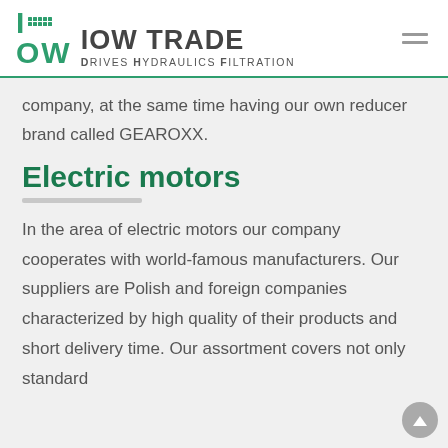IOW TRADE Drives Hydraulics Filtration
company, at the same time having our own reducer brand called GEAROXX.
Electric motors
In the area of electric motors our company cooperates with world-famous manufacturers. Our suppliers are Polish and foreign companies characterized by high quality of their products and short delivery time. Our assortment covers not only standard